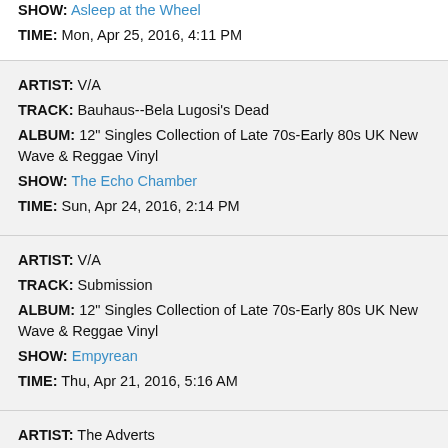SHOW: Asleep at the Wheel TIME: Mon, Apr 25, 2016, 4:11 PM
ARTIST: V/A TRACK: Bauhaus--Bela Lugosi's Dead ALBUM: 12" Singles Collection of Late 70s-Early 80s UK New Wave & Reggae Vinyl SHOW: The Echo Chamber TIME: Sun, Apr 24, 2016, 2:14 PM
ARTIST: V/A TRACK: Submission ALBUM: 12" Singles Collection of Late 70s-Early 80s UK New Wave & Reggae Vinyl SHOW: Empyrean TIME: Thu, Apr 21, 2016, 5:16 AM
ARTIST: The Adverts TRACK: No Time To Be 21 ALBUM: Punk Singles Collection SHOW: Pretty Coarse TIME: Sat, Apr 16, 2016, 8:22 AM